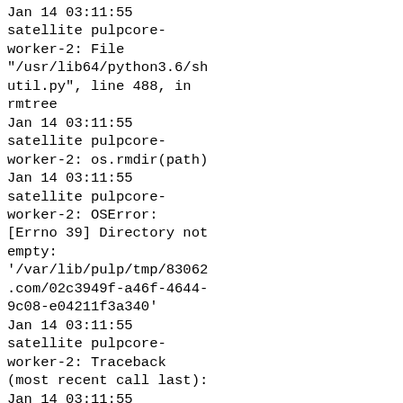Jan 14 03:11:55 satellite pulpcore-worker-2: File "/usr/lib64/python3.6/shutil.py", line 488, in rmtree
Jan 14 03:11:55 satellite pulpcore-worker-2: os.rmdir(path)
Jan 14 03:11:55 satellite pulpcore-worker-2: OSError: [Errno 39] Directory not empty: '/var/lib/pulp/tmp/83062.com/02c3949f-a46f-4644-9c08-e04211f3a340'
Jan 14 03:11:55 satellite pulpcore-worker-2: Traceback (most recent call last):
Jan 14 03:11:55 satellite pulpcore-worker-2: File "/usr/lib/python3.6/site-packages/rq/worker.py", line 936, in perform_job
Jan 14 03:11:55 satellite pulpcore-worker-2: rv =